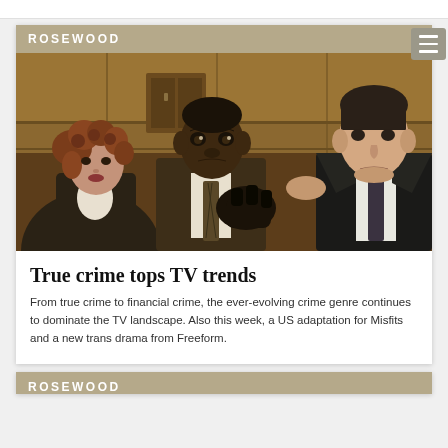[Figure (photo): Three people in formal attire in a courtroom setting. A woman with curly hair on the left, a Black man in the center holding a glove, and a white man in a suit on the right.]
True crime tops TV trends
From true crime to financial crime, the ever-evolving crime genre continues to dominate the TV landscape. Also this week, a US adaptation for Misfits and a new trans drama from Freeform.
ROSEWOOD